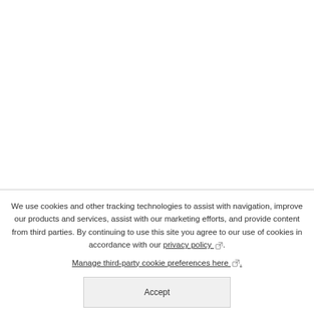We use cookies and other tracking technologies to assist with navigation, improve our products and services, assist with our marketing efforts, and provide content from third parties. By continuing to use this site you agree to our use of cookies in accordance with our privacy policy. Manage third-party cookie preferences here.